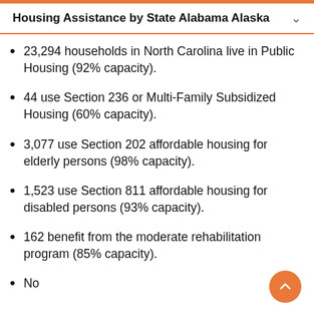Housing Assistance by State Alabama Alaska
23,294 households in North Carolina live in Public Housing (92% capacity).
44 use Section 236 or Multi-Family Subsidized Housing (60% capacity).
3,077 use Section 202 affordable housing for elderly persons (98% capacity).
1,523 use Section 811 affordable housing for disabled persons (93% capacity).
162 benefit from the moderate rehabilitation program (85% capacity).
No more items visible (cut off)